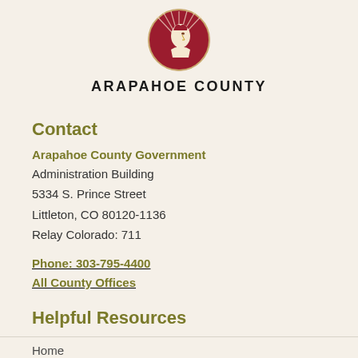[Figure (logo): Arapahoe County circular logo with red background showing a profile of a Native American figure with radiating lines]
ARAPAHOE COUNTY
Contact
Arapahoe County Government
Administration Building
5334 S. Prince Street
Littleton, CO 80120-1136
Relay Colorado: 711
Phone: 303-795-4400
All County Offices
Helpful Resources
Home
Contact